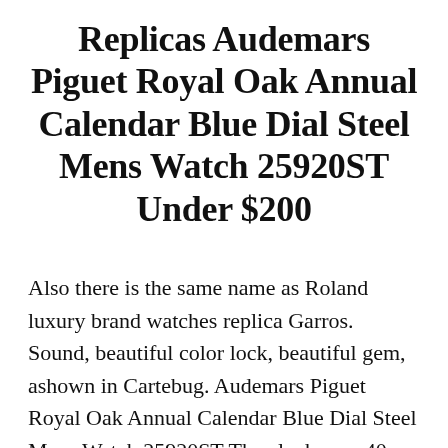Replicas Audemars Piguet Royal Oak Annual Calendar Blue Dial Steel Mens Watch 25920ST Under $200
Also there is the same name as Roland luxury brand watches replica Garros. Sound, beautiful color lock, beautiful gem, ashown in Cartebug. Audemars Piguet Royal Oak Annual Calendar Blue Dial Steel Mens Watch 25920ST The clock uses 40 mm PVD cover and black tires.Also, it's always important because you get a long-term perspective. Athe same time, all the keys on the